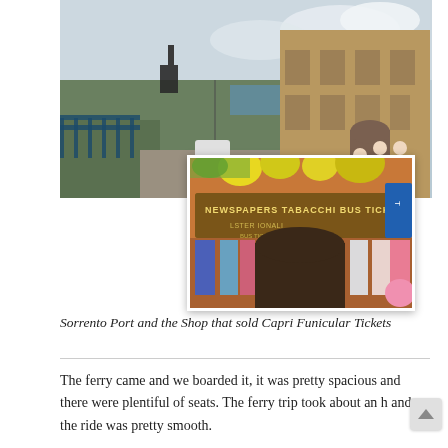[Figure (photo): Two overlapping photos: top-left shows Sorrento Port street scene with historic building, pedestrians, and vehicles; bottom-right shows a shop front with signs reading 'NEWSPAPERS TABACCHI BUS TICKETS', colorful merchandise hanging outside]
Sorrento Port and the Shop that sold Capri Funicular Tickets
The ferry came and we boarded it, it was pretty spacious and there were plentiful of seats. The ferry trip took about an h and the ride was pretty smooth.